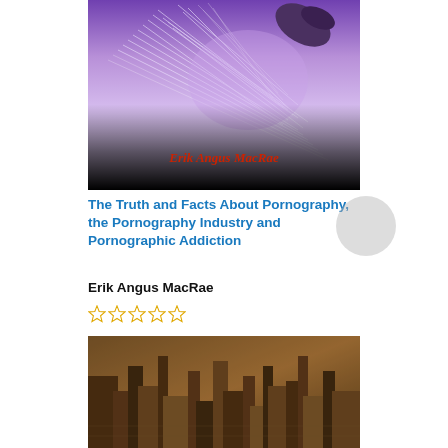[Figure (photo): Book cover with purple-toned abstract hair/feather image fading to black at the bottom, with author name 'Erik Angus MacRae' in red italic text on the dark lower portion]
The Truth and Facts About Pornography, the Pornography Industry and Pornographic Addiction
Erik Angus MacRae
[Figure (photo): Partially visible book cover at the bottom of the page, showing a dark sepia-toned industrial or vintage scene]